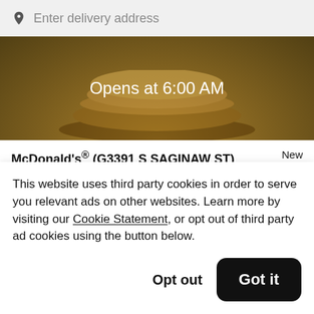Enter delivery address
[Figure (photo): Hero image showing McDonald's food (appears to be an Egg McMuffin or similar breakfast sandwich) with golden/brown overlay and text 'Opens at 6:00 AM' centered over the image]
McDonald's® (G3391 S SAGINAW ST)
New
$
This website uses third party cookies in order to serve you relevant ads on other websites. Learn more by visiting our Cookie Statement, or opt out of third party ad cookies using the button below.
Opt out
Got it